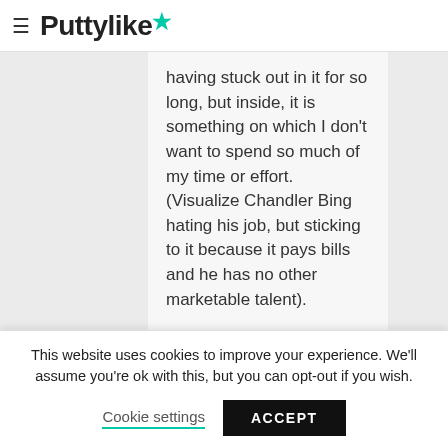Puttylike
having stuck out in it for so long, but inside, it is something on which I don't want to spend so much of my time or effort. (Visualize Chandler Bing hating his job, but sticking to it because it pays bills and he has no other marketable talent).
My questions are:
How do I focus on a multitude of projects in different fields if they
This website uses cookies to improve your experience. We'll assume you're ok with this, but you can opt-out if you wish.
Cookie settings   ACCEPT